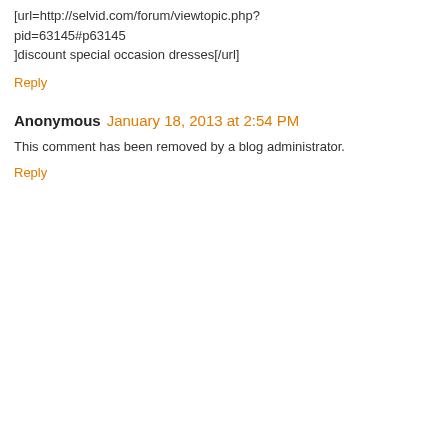[url=http://selvid.com/forum/viewtopic.php?pid=63145#p63145
]discount special occasion dresses[/url]
Reply
Anonymous  January 18, 2013 at 2:54 PM
This comment has been removed by a blog administrator.
Reply